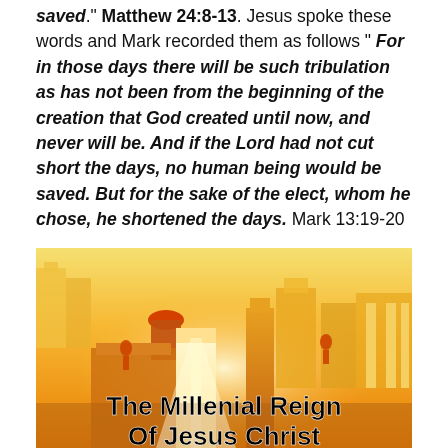saved." Matthew 24:8-13. Jesus spoke these words and Mark recorded them as follows " For in those days there will be such tribulation as has not been from the beginning of the creation that God created until now, and never will be. And if the Lord had not cut short the days, no human being would be saved. But for the sake of the elect, whom he chose, he shortened the days. Mark 13:19-20
[Figure (illustration): Artistic illustration of a golden glowing heavenly city with domes, towers and pillars bathed in bright golden-yellow light. At the bottom of the image bold black text reads 'The Millenial Reign' and 'Of Jesus Christ'.]